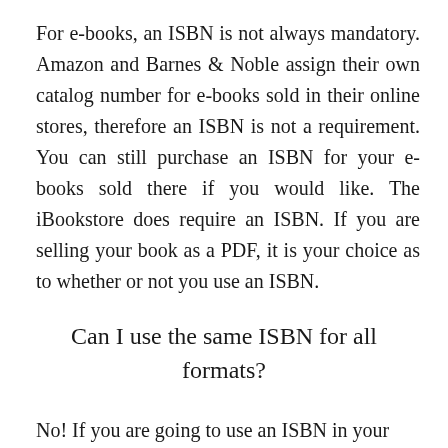For e-books, an ISBN is not always mandatory. Amazon and Barnes & Noble assign their own catalog number for e-books sold in their online stores, therefore an ISBN is not a requirement. You can still purchase an ISBN for your e-books sold there if you would like. The iBookstore does require an ISBN. If you are selling your book as a PDF, it is your choice as to whether or not you use an ISBN.
Can I use the same ISBN for all formats?
No! If you are going to use an ISBN in your